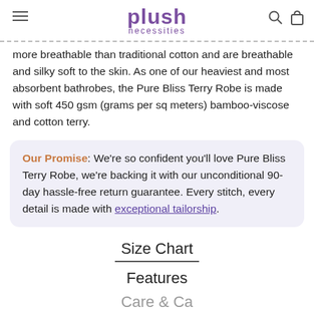plush necessities
...more breathable and silky soft to the skin. As one of our heaviest and most absorbent bathrobes, the Pure Bliss Terry Robe is made with soft 450 gsm (grams per sq meters) bamboo-viscose and cotton terry.
Our Promise: We're so confident you'll love Pure Bliss Terry Robe, we're backing it with our unconditional 90-day hassle-free return guarantee. Every stitch, every detail is made with exceptional tailorship.
Size Chart
Features
Care & Care